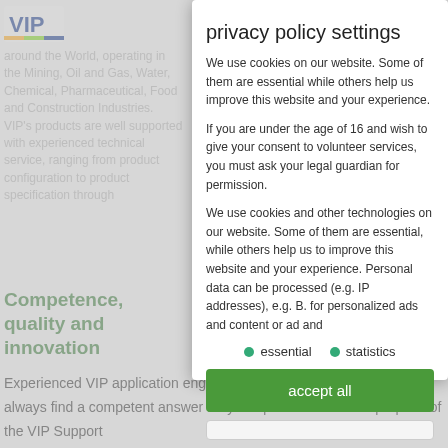[Figure (logo): VIP logo in top left corner]
around the World, operating in the Mining, Oil and Gas, Water, Chemical, Pharmaceutical, Food and Construction industries. VIP's products are well supported with experienced technical service, ranging from product configuration to product specification through...
privacy policy settings
We use cookies on our website. Some of them are essential while others help us improve this website and your experience.
If you are under the age of 16 and wish to give your consent to volunteer services, you must ask your legal guardian for permission.
We use cookies and other technologies on our website. Some of them are essential, while others help us to improve this website and your experience. Personal data can be processed (e.g. IP addresses), e.g. B. for personalized ads and content or ad and
essential
statistics
Competence, quality and innovation
accept all
Experienced VIP application engineers and our R&D department will always find a competent answer for your questions. It is the purpose of the VIP Support